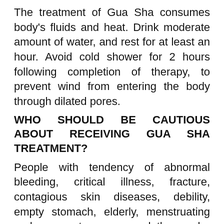The treatment of Gua Sha consumes body's fluids and heat. Drink moderate amount of water, and rest for at least an hour. Avoid cold shower for 2 hours following completion of therapy, to prevent wind from entering the body through dilated pores.
WHO SHOULD BE CAUTIOUS ABOUT RECEIVING GUA SHA TREATMENT?
People with tendency of abnormal bleeding, critical illness, fracture, contagious skin diseases, debility, empty stomach, elderly, menstruating and pregnant women, and those who are apprehensive or allergic to Gua Sha, please consult your physician or therapist before receiving Gua Sha treatment.